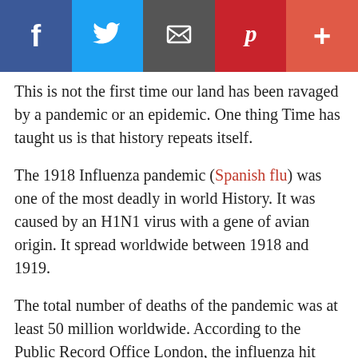[Figure (other): Social media sharing bar with Facebook, Twitter, Email, Pinterest, and plus buttons]
This is not the first time our land has been ravaged by a pandemic or an epidemic. One thing Time has taught us is that history repeats itself.
The 1918 Influenza pandemic (Spanish flu) was one of the most deadly in world History. It was caused by an H1N1 virus with a gene of avian origin. It spread worldwide between 1918 and 1919.
The total number of deaths of the pandemic was at least 50 million worldwide. According to the Public Record Office London, the influenza hit Lagos on the 14th of September 1918, four years after the Amalgamation of the Northern and Southern Protectorates by Lord Fredrick Lugard.